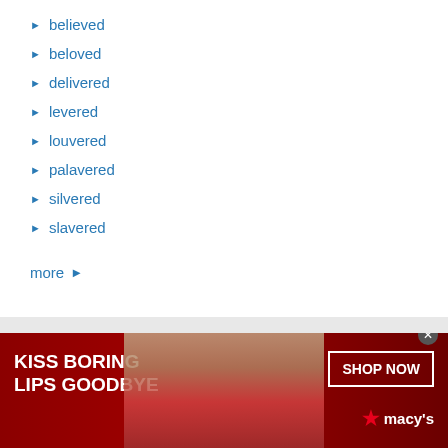believed
beloved
delivered
levered
louvered
palavered
silvered
slavered
more ▶
Privacy Policy
© 2011-2022 DomainOptions, Inc. Trademarks belong to their respective owners. All rights reserved.
[Figure (infographic): Macy's advertisement banner with red background, woman's face with red lips, text 'KISS BORING LIPS GOODBYE', 'SHOP NOW' button, and Macy's star logo]